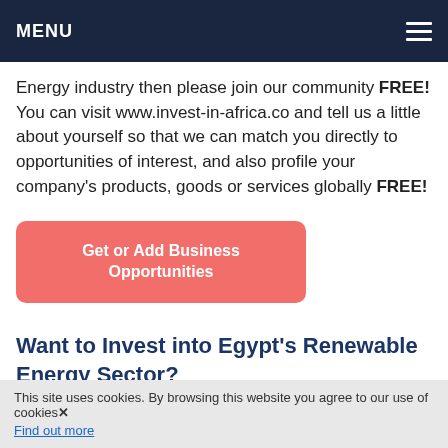MENU
Energy industry then please join our community FREE! You can visit www.invest-in-africa.co and tell us a little about yourself so that we can match you directly to opportunities of interest, and also profile your company's products, goods or services globally FREE!
Get or Add Business Opportunities
Want to Invest into Egypt’s Renewable Energy Sector?
Renewable Energy is a major business sector across Africa, often favourable climactic conditions mean that investing into Renewable Energy in Egypt can be
This site uses cookies. By browsing this website you agree to our use of cookies. Find out more